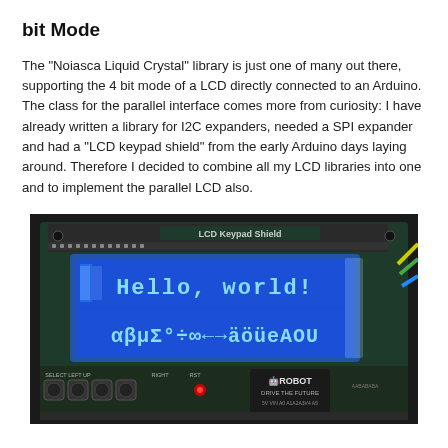bit Mode
The "Noiasca Liquid Crystal" library is just one of many out there, supporting the 4 bit mode of a LCD directly connected to an Arduino. The class for the parallel interface comes more from curiosity: I have already written a library for I2C expanders, needed a SPI expander and had a "LCD keypad shield" from the early Arduino days laying around. Therefore I decided to combine all my LCD libraries into one and to implement the parallel LCD also.
[Figure (photo): Photo of an Arduino LCD Keypad Shield board displaying 'Hello, world!' on the first line and special characters 'αβμΣ°÷∞←→äöüeAOU' on the second line of a blue backlit 16x2 LCD screen. The board is labeled 'LCD Keypad Shield' and shows a red LED and button controls at the bottom. Colorful wires (yellow, green, blue) are connected on the right side.]